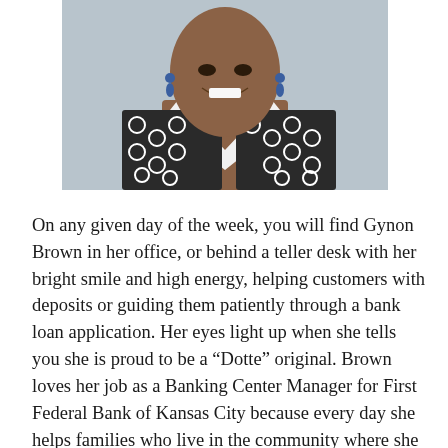[Figure (photo): Professional headshot of Gynon Brown, a woman smiling, wearing blue drop earrings and a black-and-white patterned jacket with a white collared shirt underneath, photographed against a light gray background.]
On any given day of the week, you will find Gynon Brown in her office, or behind a teller desk with her bright smile and high energy, helping customers with deposits or guiding them patiently through a bank loan application. Her eyes light up when she tells you she is proud to be a “Dotte” original. Brown loves her job as a Banking Center Manager for First Federal Bank of Kansas City because every day she helps families who live in the community where she grew up.